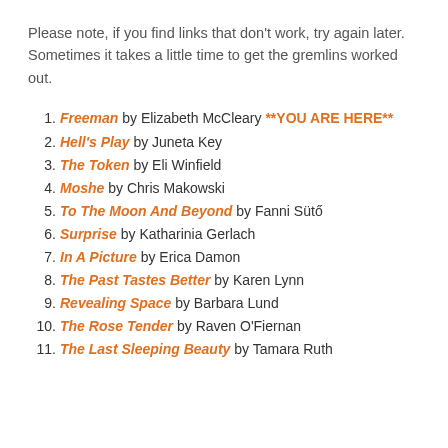Please note, if you find links that don’t work, try again later. Sometimes it takes a little time to get the gremlins worked out.
1. Freeman by Elizabeth McCleary **YOU ARE HERE**
2. Hell’s Play by Juneta Key
3. The Token by Eli Winfield
4. Moshe by Chris Makowski
5. To The Moon And Beyond by Fanni Sütő
6. Surprise by Katharinia Gerlach
7. In A Picture by Erica Damon
8. The Past Tastes Better by Karen Lynn
9. Revealing Space by Barbara Lund
10. The Rose Tender by Raven O’Fiernan
11. The Last Sleeping Beauty by Tamara Ruth